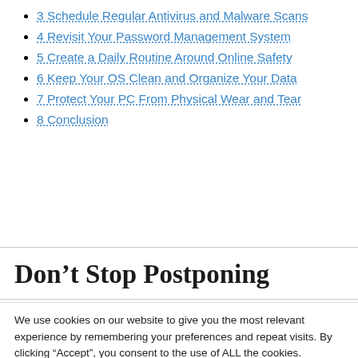3 Schedule Regular Antivirus and Malware Scans
4 Revisit Your Password Management System
5 Create a Daily Routine Around Online Safety
6 Keep Your OS Clean and Organize Your Data
7 Protect Your PC From Physical Wear and Tear
8 Conclusion
Don’t Stop Postponing
We use cookies on our website to give you the most relevant experience by remembering your preferences and repeat visits. By clicking “Accept”, you consent to the use of ALL the cookies.
Do not sell my personal information.